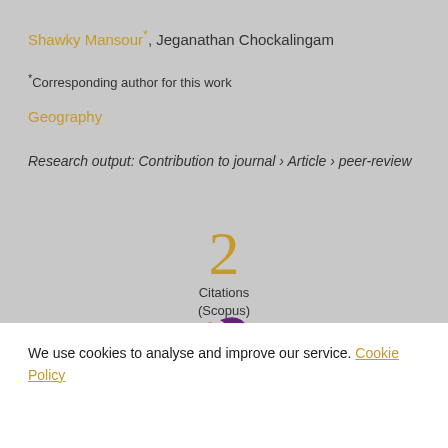Shawky Mansour*, Jeganathan Chockalingam
*Corresponding author for this work
Geography
Research output: Contribution to journal › Article › peer-review
2 Citations (Scopus)
[Figure (logo): Scopus logo icon with orange and purple butterfly/bird motif]
We use cookies to analyse and improve our service. Cookie Policy